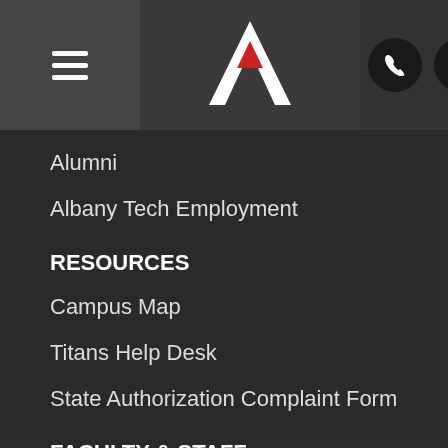[Figure (logo): Albany Technical College logo - white triangular A shape with red inner triangle on dark background]
[Figure (illustration): Navigation header icons: hamburger menu, phone, map pin, search on dark circular backgrounds]
Alumni
Albany Tech Employment
RESOURCES
Campus Map
Titans Help Desk
State Authorization Complaint Form
FACULTY & STAFF
Resources
Policies